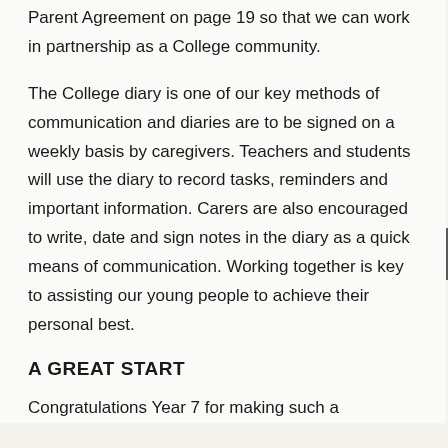Parent Agreement on page 19 so that we can work in partnership as a College community.
The College diary is one of our key methods of communication and diaries are to be signed on a weekly basis by caregivers. Teachers and students will use the diary to record tasks, reminders and important information. Carers are also encouraged to write, date and sign notes in the diary as a quick means of communication. Working together is key to assisting our young people to achieve their personal best.
A GREAT START
Congratulations Year 7 for making such a